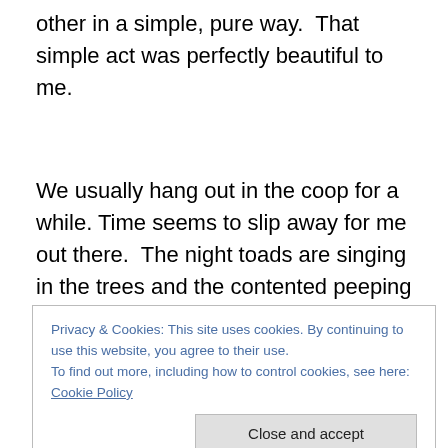other in a simple, pure way.  That simple act was perfectly beautiful to me.
We usually hang out in the coop for a while. Time seems to slip away for me out there.  The night toads are singing in the trees and the contented peeping and scratching of the chickens is very soothing to me.  As the last one settles down, Tom will start shuffling around a bit and I'll
Privacy & Cookies: This site uses cookies. By continuing to use this website, you agree to their use.
To find out more, including how to control cookies, see here: Cookie Policy
as though it's not real sometimes.